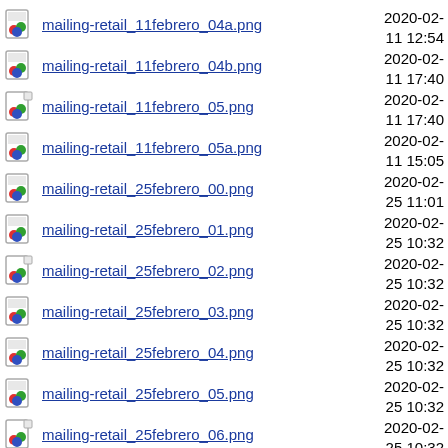mailing-retail_11febrero_04a.png  2020-02-11 12:54
mailing-retail_11febrero_04b.png  2020-02-11 17:40
mailing-retail_11febrero_05.png  2020-02-11 17:40
mailing-retail_11febrero_05a.png  2020-02-11 15:05
mailing-retail_25febrero_00.png  2020-02-25 11:01
mailing-retail_25febrero_01.png  2020-02-25 10:32
mailing-retail_25febrero_02.png  2020-02-25 10:32
mailing-retail_25febrero_03.png  2020-02-25 10:32
mailing-retail_25febrero_04.png  2020-02-25 10:32
mailing-retail_25febrero_05.png  2020-02-25 10:32
mailing-retail_25febrero_06.png  2020-02-25 10:32